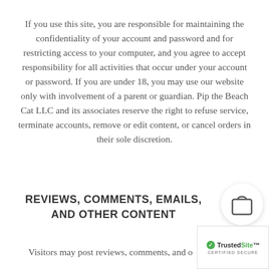If you use this site, you are responsible for maintaining the confidentiality of your account and password and for restricting access to your computer, and you agree to accept responsibility for all activities that occur under your account or password. If you are under 18, you may use our website only with involvement of a parent or guardian. Pip the Beach Cat LLC and its associates reserve the right to refuse service, terminate accounts, remove or edit content, or cancel orders in their sole discretion.
REVIEWS, COMMENTS, EMAILS, AND OTHER CONTENT
Visitors may post reviews, comments, and o...